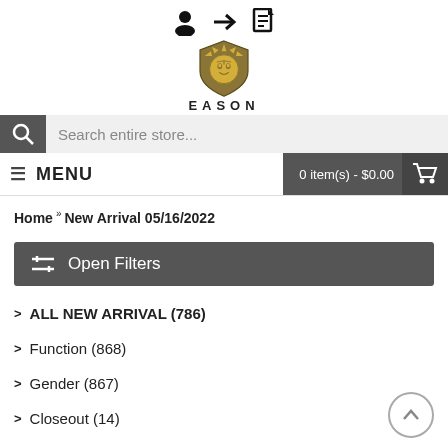[Figure (logo): Sun face shield logo with golden color, EASON brand]
Search entire store...
MENU  |  0 item(s) - $0.00
Home » New Arrival 05/16/2022
Open Filters
> ALL NEW ARRIVAL (786)
> Function (868)
> Gender (867)
> Closeout (14)